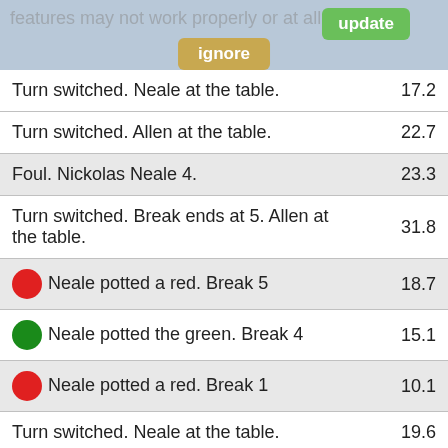features may not work properly or at all.
| Event | Time |
| --- | --- |
| Turn switched. Neale at the table. | 17.2 |
| Turn switched. Allen at the table. | 22.7 |
| Foul. Nickolas Neale 4. | 23.3 |
| Turn switched. Break ends at 5. Allen at the table. | 31.8 |
| [red] Neale potted a red. Break 5 | 18.7 |
| [green] Neale potted the green. Break 4 | 15.1 |
| [red] Neale potted a red. Break 1 | 10.1 |
| Turn switched. Neale at the table. | 19.6 |
| Turn switched. Break ends at 5. Allen at the table. | 21.1 |
| [brown] Neale potted the brown. Break 5 | 16.7 |
| [red] Neale potted a red. Break 1 | 20.1 |